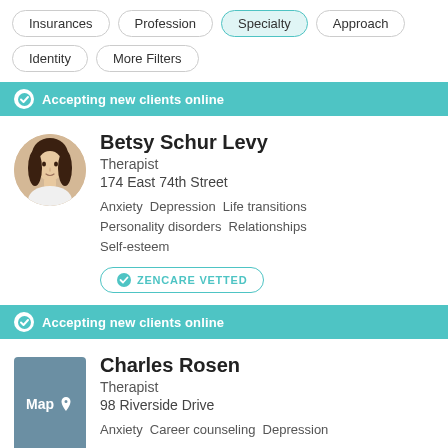[Figure (screenshot): Filter buttons row 1: Insurances, Profession, Specialty (active/highlighted), Approach]
[Figure (screenshot): Filter buttons row 2: Identity, More Filters]
Accepting new clients online
Betsy Schur Levy
Therapist
174 East 74th Street
Anxiety  Depression  Life transitions  Personality disorders  Relationships  Self-esteem
ZENCARE VETTED
Accepting new clients online
Charles Rosen
Therapist
98 Riverside Drive
Anxiety  Career counseling  Depression